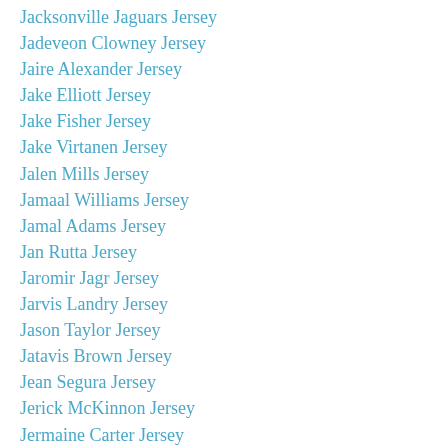Jacksonville Jaguars Jersey
Jadeveon Clowney Jersey
Jaire Alexander Jersey
Jake Elliott Jersey
Jake Fisher Jersey
Jake Virtanen Jersey
Jalen Mills Jersey
Jamaal Williams Jersey
Jamal Adams Jersey
Jan Rutta Jersey
Jaromir Jagr Jersey
Jarvis Landry Jersey
Jason Taylor Jersey
Jatavis Brown Jersey
Jean Segura Jersey
Jerick McKinnon Jersey
Jermaine Carter Jersey
Jimmy Foxx Jersey
Joe Thuney Jersey